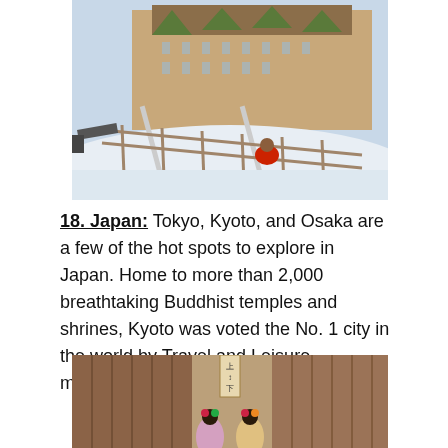[Figure (photo): A person sledding down a snowy hill in a red outfit with a large historic château-style hotel building in the background (Château Frontenac, Quebec City). Snow-covered landscape with a wooden fence along the slide.]
18. Japan:  Tokyo, Kyoto, and Osaka are a few of the hot spots to explore in Japan. Home to more than 2,000 breathtaking Buddhist temples and shrines, Kyoto was voted the No. 1 city in the world by Travel and Leisure magazine this year.
[Figure (photo): Two women in traditional Japanese geisha/maiko attire with elaborate hair ornaments viewed from behind, standing in a narrow alley with wooden buildings in Kyoto, Japan. A wooden sign with Japanese characters hangs above.]